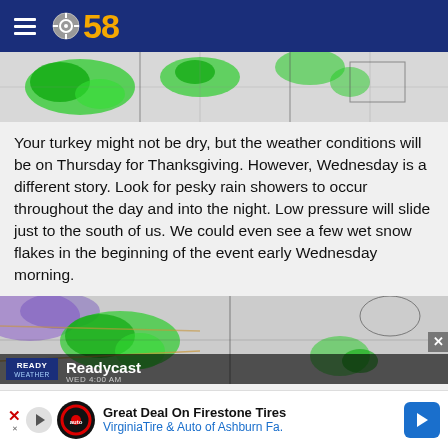CBS 58
[Figure (map): Weather radar map showing green precipitation areas over a regional map]
Your turkey might not be dry, but the weather conditions will be on Thursday for Thanksgiving.  However, Wednesday is a different story.  Look for pesky rain showers to occur throughout the day and into the night.  Low pressure will slide just to the south of us. We could even see a few wet snow flakes in the beginning of the event early Wednesday morning.
[Figure (screenshot): Readycast weather map showing WED 4:00 AM precipitation forecast with green radar returns]
[Figure (other): Advertisement: Great Deal On Firestone Tires - Virginia Tire & Auto of Ashburn Fa.]